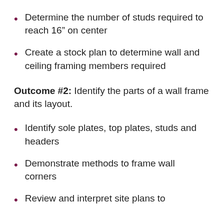Determine the number of studs required to reach 16″ on center
Create a stock plan to determine wall and ceiling framing members required
Outcome #2: Identify the parts of a wall frame and its layout.
Identify sole plates, top plates, studs and headers
Demonstrate methods to frame wall corners
Review and interpret site plans to